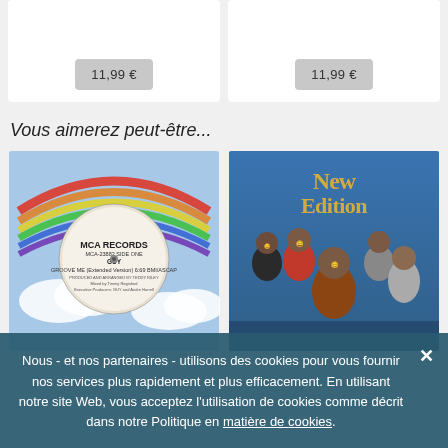11,99 €
11,99 €
Vous aimerez peut-être...
[Figure (photo): MCA Records vinyl record label for GUY - Groove Me (Extended Version) 6:69 BMI/ASCAP, MCA-23882, Side One, with rainbow and clouds design]
[Figure (photo): New Edition album cover showing the R&B group New Edition with golden logo text on blue background]
Nous - et nos partenaires - utilisons des cookies pour vous fournir nos services plus rapidement et plus efficacement. En utilisant notre site Web, vous acceptez l'utilisation de cookies comme décrit dans notre Politique en matière de cookies.